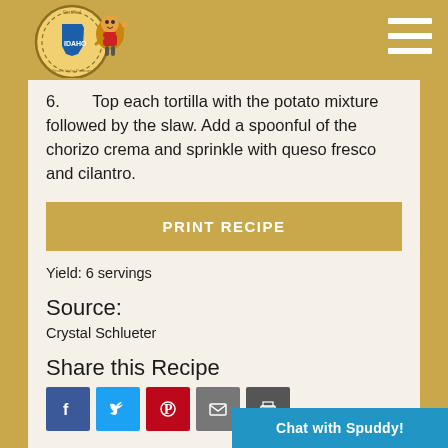[Figure (logo): Certified Idaho potatoes logo with mascot potato character]
6. Top each tortilla with the potato mixture followed by the slaw. Add a spoonful of the chorizo crema and sprinkle with queso fresco and cilantro.
PRINT RECIPE
Yield: 6 servings
Source:
Crystal Schlueter
Share this Recipe
[Figure (other): Social media sharing icons: Facebook, Twitter, Pinterest, Email, Print]
Chat with Spuddy!